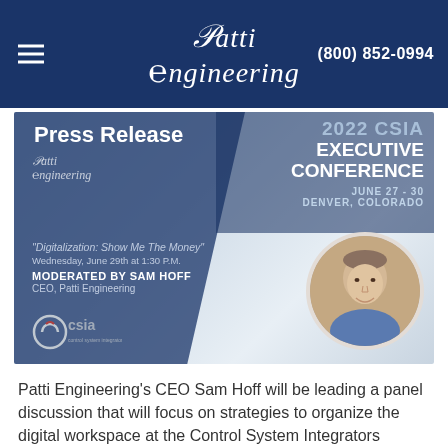Patti Engineering | (800) 852-0994
[Figure (infographic): Press release banner for 2022 CSIA Executive Conference, June 27-30, Denver, Colorado. Shows Patti Engineering logo, moderator session 'Digitalization: Show Me The Money' on Wednesday June 29th at 1:30 PM, moderated by Sam Hoff, CEO Patti Engineering. Includes CSIA logo and photo of Sam Hoff.]
Patti Engineering's CEO Sam Hoff will be leading a panel discussion that will focus on strategies to organize the digital workspace at the Control System Integrators Association's Executive